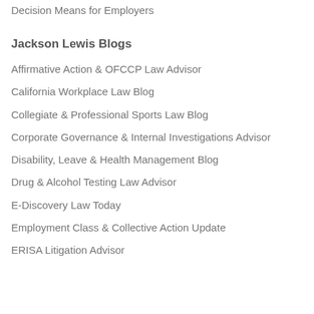Decision Means for Employers
Jackson Lewis Blogs
Affirmative Action & OFCCP Law Advisor
California Workplace Law Blog
Collegiate & Professional Sports Law Blog
Corporate Governance & Internal Investigations Advisor
Disability, Leave & Health Management Blog
Drug & Alcohol Testing Law Advisor
E-Discovery Law Today
Employment Class & Collective Action Update
ERISA Litigation Advisor